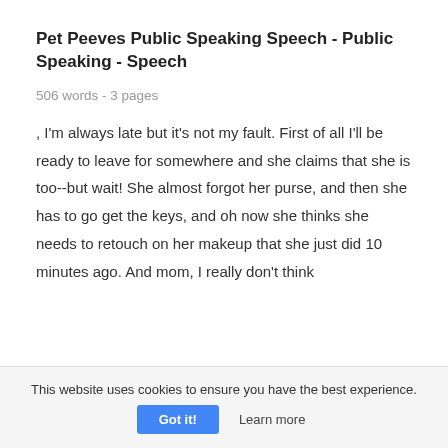Pet Peeves Public Speaking Speech - Public Speaking - Speech
506 words - 3 pages
, I'm always late but it's not my fault. First of all I'll be ready to leave for somewhere and she claims that she is too--but wait! She almost forgot her purse, and then she has to go get the keys, and oh now she thinks she needs to retouch on her makeup that she just did 10 minutes ago. And mom, I really don't think
This website uses cookies to ensure you have the best experience.